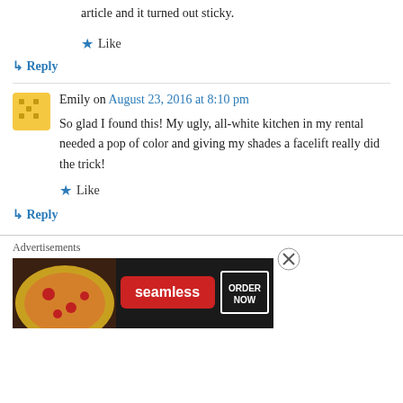article and it turned out sticky.
★ Like
↳ Reply
Emily on August 23, 2016 at 8:10 pm
So glad I found this! My ugly, all-white kitchen in my rental needed a pop of color and giving my shades a facelift really did the trick!
★ Like
↳ Reply
Advertisements
[Figure (illustration): Seamless food delivery advertisement showing pizza and ORDER NOW button]